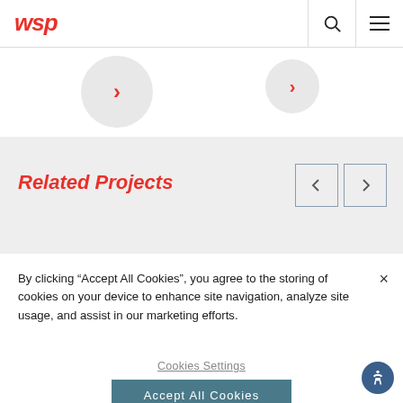[Figure (logo): WSP logo in red italic bold text]
[Figure (screenshot): Navigation header with search and hamburger menu icons]
[Figure (screenshot): Carousel area showing two circular thumbnails with red chevron arrows]
Related Projects
By clicking “Accept All Cookies”, you agree to the storing of cookies on your device to enhance site navigation, analyze site usage, and assist in our marketing efforts.
Cookies Settings
Accept All Cookies